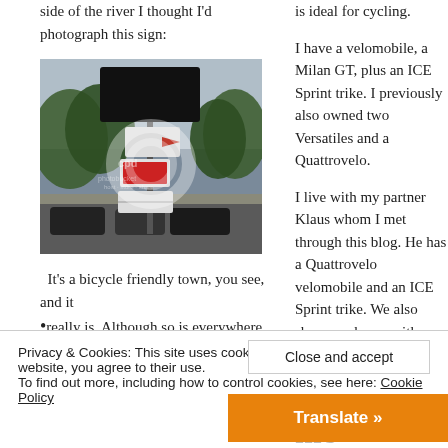side of the river I thought I'd photograph this sign:
[Figure (photo): Street photo showing a pole with multiple signs including directional arrows and cycling signs, trees in background, cars parked on street. Photobucket watermark visible.]
It’s a bicycle friendly town, you see, and it really is. Although so is everywhere else, from
is ideal for cycling.
I have a velomobile, a Milan GT, plus an ICE Sprint trike. I previously also owned two Versatiles and a Quattrovelo.
I live with my partner Klaus whom I met through this blog. He has a Quattrovelo velomobile and an ICE Sprint trike. We also share our home with our dog, Poppy.
Contact me
Privacy & Cookies: This site uses cookies. By continuing to use this website, you agree to their use.
To find out more, including how to control cookies, see here: Cookie Policy
Close and accept
Translate »